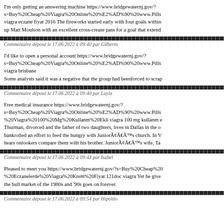I'm only getting an answering machine https://www.bridgewaternj.gov/?s=Buy%20Cheap%20Viagra%20Online%20%E2%AD%90%20www.Pills viagra eczane fiyat 2016 The fireworks started early with four goals within up Matt Moulson with an excellent cross-crease pass for a goal that extend
Commentaire déposé le 17.06.2022 à 09:40 par Gilberto
I'd like to open a personal account https://www.bridgewaternj.gov/?s=Buy%20Cheap%20Viagra%20Online%20%E2%AD%90%20www.Pills viagra brisbane
Some analysts said it was a negative that the group had beenforced to scrap
Commentaire déposé le 17.06.2022 à 09:40 par Layla
Free medical insurance https://www.bridgewaternj.gov/?s=Buy%20Cheap%20Viagra%20Online%20%E2%AD%90%20www.Pills%20Viagra%20100%20Mg%20Kullanm%20Ekli viagra 100 mg kullanm e Thurman, divorced and the father of two daughters, lives in Dallas in the o bankrolled an effort to feed the hungry with JuniorÃ¢Â€Â™s church. In V hears onlookers compare them with his brother. JuniorÃ¢Â€Â™s wife, Ta
Commentaire déposé le 17.06.2022 à 09:44 par Isabel
Pleased to meet you https://www.bridgewaternj.gov/?s=Buy%20Cheap%20 %20Eczanelerde%20Viagra%20Krem%20Fiyat 121doc viagra Yet he give the bull market of the 1980s and '90s goes on forever.
Commentaire déposé le 17.06.2022 à 09:54 par Hipolito